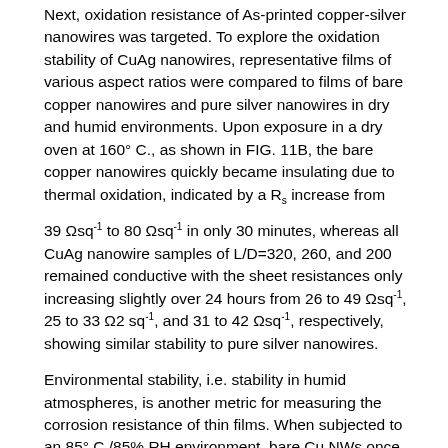Next, oxidation resistance of As-printed copper-silver nanowires was targeted. To explore the oxidation stability of CuAg nanowires, representative films of various aspect ratios were compared to films of bare copper nanowires and pure silver nanowires in dry and humid environments. Upon exposure in a dry oven at 160° C., as shown in FIG. 11B, the bare copper nanowires quickly became insulating due to thermal oxidation, indicated by a Rs increase from 39 Ωsq⁻¹ to 80 Ωsq⁻¹ in only 30 minutes, whereas all CuAg nanowire samples of L/D=320, 260, and 200 remained conductive with the sheet resistances only increasing slightly over 24 hours from 26 to 49 Ωsq⁻¹, 25 to 33 Ω2 sq⁻¹, and 31 to 42 Ωsq⁻¹, respectively, showing similar stability to pure silver nanowires.
Environmental stability, i.e. stability in humid atmospheres, is another metric for measuring the corrosion resistance of thin films. When subjected to an 85° C./85% RH environment, bare Cu NWs once again lose network conductivity in less than 1 hour as the sheet resistance quickly increases by orders of magnitude due to oxidation (FIG. 11B). A protective layer of silver was shown to inhibit this oxidation and conductivity loss. All of the CuAg...